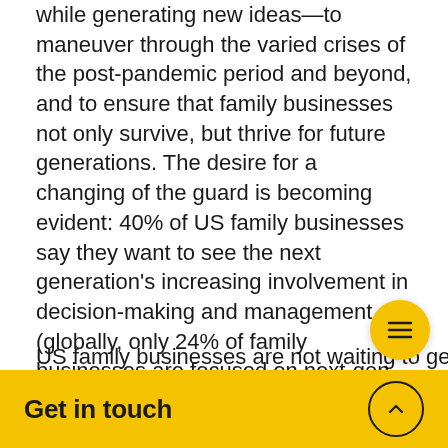while generating new ideas—to maneuver through the varied crises of the post-pandemic period and beyond, and to ensure that family businesses not only survive, but thrive for future generations. The desire for a changing of the guard is becoming evident: 40% of US family businesses say they want to see the next generation's increasing involvement in decision-making and management (globally, only 24% of family businesses are focused on next-gen involvement).
US family businesses are not waiting to get t...
Get in touch